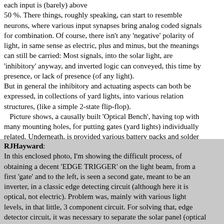each input is (barely) above 50 %. There things, roughly speaking, can start to resemble neurons, where various input synapses bring analog coded signals for combination.  Of course, there isn't any 'negative' polarity of light, in same sense as electric, plus and minus, but the meanings can still be carried: Most signals, into the solar light, are 'inhibitory' anyway, and inverted logic can conveyed, this time by presence, or lack of presence (of any light).
But in general the inhibitory and actuating aspects can both be expressed, in collections of yard lights, into various relation structures, (like a simple 2-state flip-flop).
   Picture shows, a causally built 'Optical Bench', having top with many mounting holes, for putting gates (yard lights) individually related.  Underneath, is provided various battery packs and solder less proto boards.
A LED blinker provides a light source, for some testing.
RJHayward: In this enclosed photo, I'm showing the difficult process, of obtaining a decent 'EDGE TRIGGER' on the light beam, from a first 'gate' and to the left, is seen a second gate, meant to be an inverter, in a classic edge detecting circuit (although here it is optical, not electric).  Problem was, mainly with various light levels, in that little, 3 component circuit.  For solving that, edge detector circuit, it was necessary to separate the solar panel (optical input) from the directing the output LED inspection. This